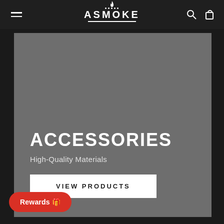ASMOKE
[Figure (screenshot): Hero banner with gray background showing ACCESSORIES heading, High-Quality Materials subtitle, and VIEW PRODUCTS button]
ACCESSORIES
High-Quality Materials
VIEW PRODUCTS
Rewards 🎁